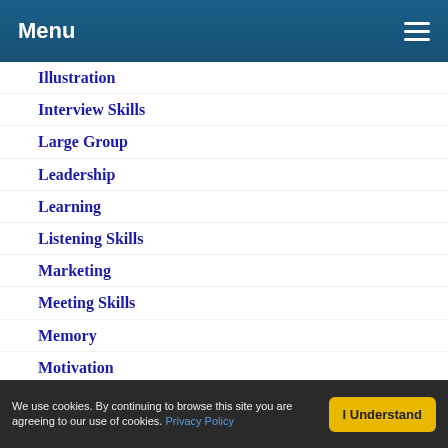Menu
Illustration
Interview Skills
Large Group
Leadership
Learning
Listening Skills
Marketing
Meeting Skills
Memory
Motivation
Negotiation
Outdoors
Personal Impact
Persuasion Skills
Planning
Presentation Skills
We use cookies. By continuing to browse this site you are agreeing to our use of cookies. Privacy Policy | I Understand